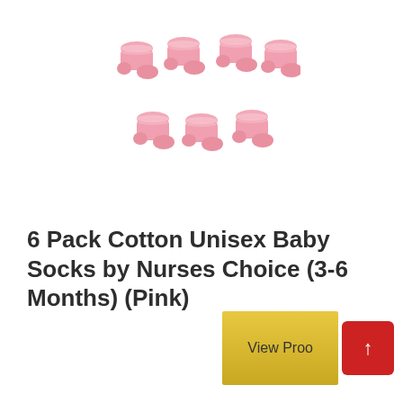[Figure (photo): Six pink cotton baby socks arranged in two rows of three pairs each, showing small knitted booties with decorative cuffs]
6 Pack Cotton Unisex Baby Socks by Nurses Choice (3-6 Months) (Pink)
[Figure (other): View Product button (gold/yellow) partially visible with a red scroll-to-top button showing an upward arrow]